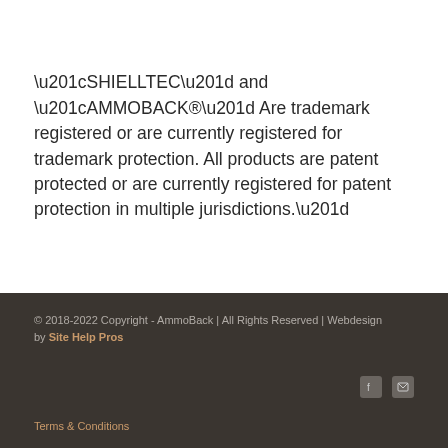“SHIELLTEC” and “AMMOBACK®” Are trademark registered or are currently registered for trademark protection. All products are patent protected or are currently registered for patent protection in multiple jurisdictions.”
© 2018-2022 Copyright - AmmoBack | All Rights Reserved | Webdesign by Site Help Pros | Terms & Conditions